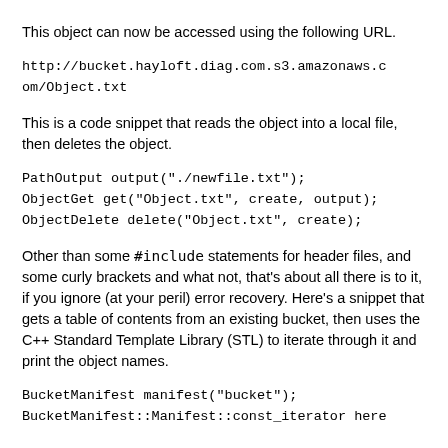This object can now be accessed using the following URL.
http://bucket.hayloft.diag.com.s3.amazonaws.com/Object.txt
This is a code snippet that reads the object into a local file, then deletes the object.
PathOutput output("./newfile.txt");
ObjectGet get("Object.txt", create, output);
ObjectDelete delete("Object.txt", create);
Other than some #include statements for header files, and some curly brackets and what not, that's about all there is to it, if you ignore (at your peril) error recovery. Here's a snippet that gets a table of contents from an existing bucket, then uses the C++ Standard Template Library (STL) to iterate through it and print the object names.
BucketManifest manifest("bucket");
BucketManifest::Manifest::const_iterator here